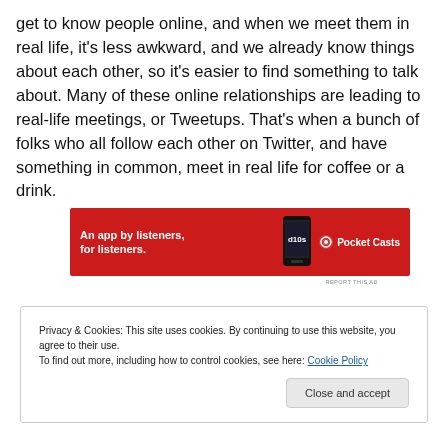get to know people online, and when we meet them in real life, it's less awkward, and we already know things about each other, so it's easier to find something to talk about. Many of these online relationships are leading to real-life meetings, or Tweetups. That's when a bunch of folks who all follow each other on Twitter, and have something in common, meet in real life for coffee or a drink.
[Figure (other): Pocket Casts advertisement banner with red background. Text reads 'An app by listeners, for listeners.' with a phone image and Pocket Casts logo.]
REPORT THIS AD
Privacy & Cookies: This site uses cookies. By continuing to use this website, you agree to their use.
To find out more, including how to control cookies, see here: Cookie Policy
Close and accept